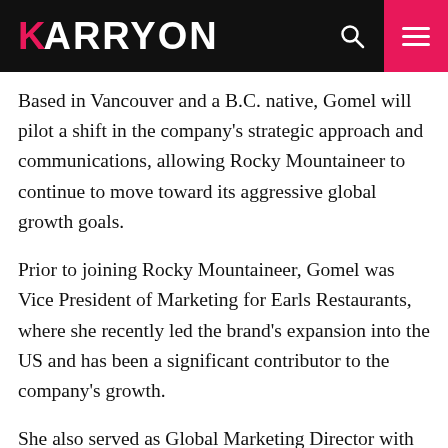KARRYON
Based in Vancouver and a B.C. native, Gomel will pilot a shift in the company's strategic approach and communications, allowing Rocky Mountaineer to continue to move toward its aggressive global growth goals.
Prior to joining Rocky Mountaineer, Gomel was Vice President of Marketing for Earls Restaurants, where she recently led the brand's expansion into the US and has been a significant contributor to the company's growth.
She also served as Global Marketing Director with Electronic Arts, leading the successful worldwide launch of EA Sports Active, Electronic Arts' first